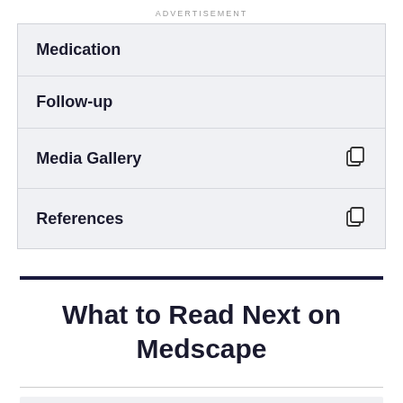ADVERTISEMENT
Medication
Follow-up
Media Gallery
References
What to Read Next on Medscape